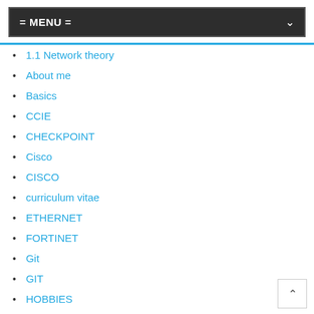= MENU =
1.1 Network theory
About me
Basics
CCIE
CHECKPOINT
Cisco
CISCO
curriculum vitae
ETHERNET
FORTINET
Git
GIT
HOBBIES
HOME LABS